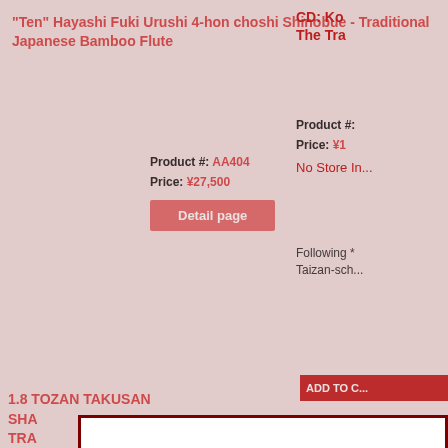"Ten" Hayashi Fuki Urushi 4-hon choshi Shinobue - Traditional Japanese Bamboo Flute
Product #: AA404
Price: ¥27,500
Detail page
1.8 TOZAN TAKUSAN SHA... TRA... FLU...
CD: Ko... The Tra...
Product #:
Price: ¥1...
No Store In...
Following * Taizan-sch...
ADD TO C...
Product #:
Price: ¥2...
20 titles/Tw...
Jin Nyodo, Katsuya, Ya...
Released D...
ADD TO...
1.8 TOZAN TAKUSAN SHAKUHACHI **LISTEN** TRADITIONAL BAMBOO ZEN FLUTE
Product #: 1801156
Price: ¥880,000
Please select a country you are from:
Japan / 日本
Save